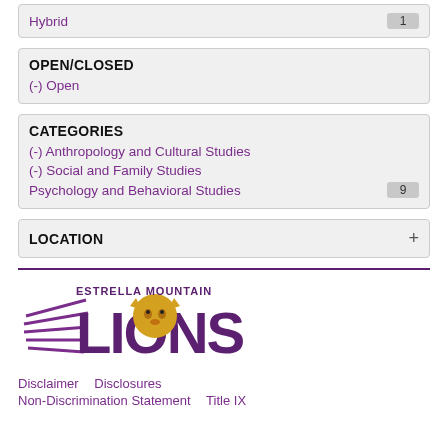Hybrid 1
OPEN/CLOSED
(-) Open
CATEGORIES
(-) Anthropology and Cultural Studies
(-) Social and Family Studies
Psychology and Behavioral Studies 9
LOCATION +
[Figure (logo): Estrella Mountain Lions logo with lion and text]
Disclaimer   Disclosures
Non-Discrimination Statement   Title IX